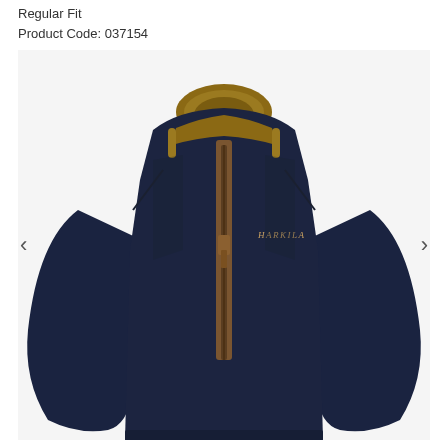Regular Fit
Product Code: 037154
[Figure (photo): Harkila navy blue quarter-zip fleece/sweatshirt with tan/brown collar trim and zip guard, featuring Harkila logo embroidered on the chest. The garment is displayed on a headless mannequin against a white background. Navigation arrows visible on left and right sides of the image.]